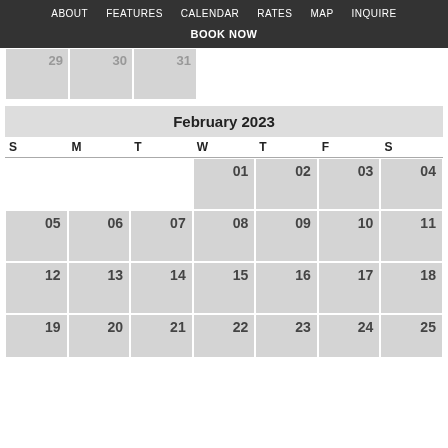ABOUT   FEATURES   CALENDAR   RATES   MAP   INQUIRE   BOOK NOW
[Figure (other): Partial calendar row showing previous month dates 29, 30, 31]
February 2023
| S | M | T | W | T | F | S |
| --- | --- | --- | --- | --- | --- | --- |
|  |  |  | 01 | 02 | 03 | 04 |
| 05 | 06 | 07 | 08 | 09 | 10 | 11 |
| 12 | 13 | 14 | 15 | 16 | 17 | 18 |
| 19 | 20 | 21 | 22 | 23 | 24 | 25 |